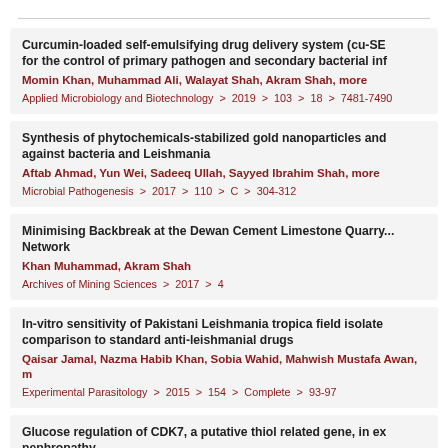Curcumin-loaded self-emulsifying drug delivery system (cu-SE... for the control of primary pathogen and secondary bacterial inf... | Momin Khan, Muhammad Ali, Walayat Shah, Akram Shah, more | Applied Microbiology and Biotechnology > 2019 > 103 > 18 > 7481-7490
Synthesis of phytochemicals-stabilized gold nanoparticles and... against bacteria and Leishmania | Aftab Ahmad, Yun Wei, Sadeeq Ullah, Sayyed Ibrahim Shah, more | Microbial Pathogenesis > 2017 > 110 > C > 304-312
Minimising Backbreak at the Dewan Cement Limestone Quarry... Network | Khan Muhammad, Akram Shah | Archives of Mining Sciences > 2017 > 4
In-vitro sensitivity of Pakistani Leishmania tropica field isolate... comparison to standard anti-leishmanial drugs | Qaisar Jamal, Nazma Habib Khan, Sobia Wahid, Mahwish Mustafa Awan, m... | Experimental Parasitology > 2015 > 154 > Complete > 93-97
Glucose regulation of CDK7, a putative thiol related gene, in ex... nephropathy